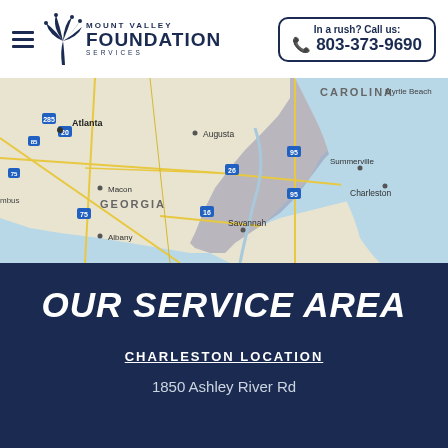Mount Valley Foundation Services — In a rush? Call us: 803-373-9690
[Figure (map): Google Maps view showing southeastern USA including Georgia, South Carolina coast, with cities: Atlanta, Augusta, Macon, Albany, Savannah, Summerville, Charleston, Myrtle Beach]
OUR SERVICE AREA
CHARLESTON LOCATION
1850 Ashley River Rd